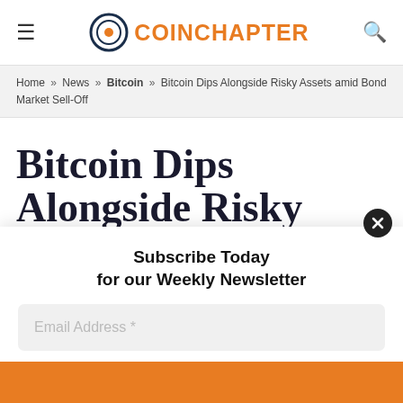CoinChapter
Home » News » Bitcoin » Bitcoin Dips Alongside Risky Assets amid Bond Market Sell-Off
Bitcoin Dips Alongside Risky Assets amid Bond Market Sell-Off
Subscribe Today for our Weekly Newsletter
Email Address *